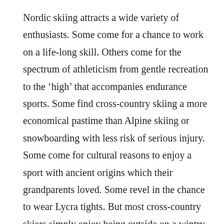Nordic skiing attracts a wide variety of enthusiasts. Some come for a chance to work on a life-long skill. Others come for the spectrum of athleticism from gentle recreation to the ‘high’ that accompanies endurance sports. Some find cross-country skiing a more economical pastime than Alpine skiing or snowboarding with less risk of serious injury. Some come for cultural reasons to enjoy a sport with ancient origins which their grandparents loved. Some revel in the chance to wear Lycra tights. But most cross-country skiers simply enjoy being outside on a wintry day and connecting with nature in a low-impact way. And many come back year after year for the wonderful friends they’ve discovered in the Nordic skiing community.